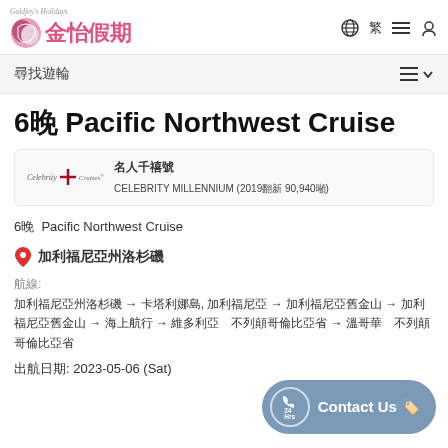Goldjoy Holidays 金怡假期
尋找遊輪
6晚 Pacific Northwest Cruise
名人千禧號 CELEBRITY MILLENNIUM (2019翻新 90,940噸)
6晚  Pacific Northwest Cruise
加利福尼亞州洛杉磯
航線:
加利福尼亞州洛杉磯 → 卡塔利娜島, 加利福尼亞 → 加利福尼亞舊金山 → 加利福尼亞舊金山 → 海上航行 → 維多利亞　不列顛哥倫比亞省 → 溫哥華　不列顛哥倫比亞省
出航日期: 2023-05-06 (Sat)